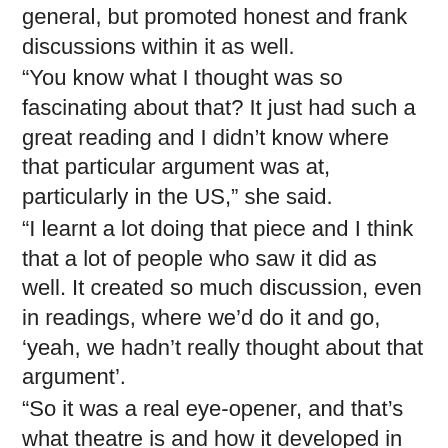general, but promoted honest and frank discussions within it as well.
“You know what I thought was so fascinating about that? It just had such a great reading and I didn’t know where that particular argument was at, particularly in the US,” she said.
“I learnt a lot doing that piece and I think that a lot of people who saw it did as well. It created so much discussion, even in readings, where we’d do it and go, ‘yeah, we hadn’t really thought about that argument’.
“So it was a real eye-opener, and that’s what theatre is and how it developed in some ways, as we are a mirror of society and we are also there to educate it in some ways as well.”
McCune also declared that while she didn’t know what she was going to be doing after the current run of The King and I ended at the Sydney Opera House in November, she would love to revisit LGBTI-related productions such as 8 again if another such